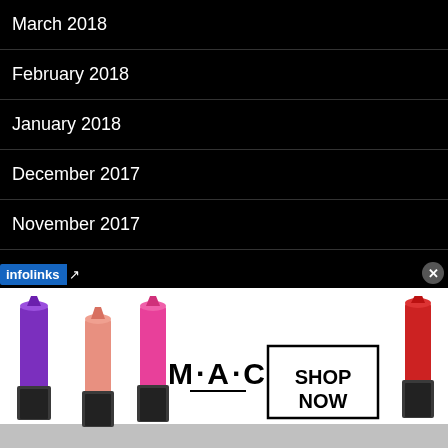March 2018
February 2018
January 2018
December 2017
November 2017
October 2017
August 2017
July 2017
May 2017
[Figure (infographic): MAC Cosmetics advertisement showing lipsticks in purple, pink/salmon, and pink colors on the left side, MAC logo text in center, SHOP NOW box on right, and a red lipstick on far right. Bottom bar shows infolinks branding and a close button.]